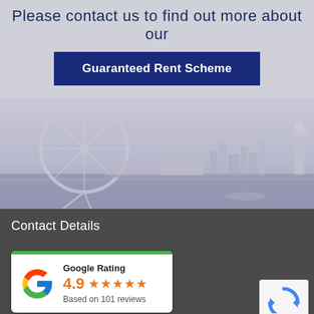Please contact us to find out more about our
Guaranteed Rent Scheme
[Figure (photo): Wide panoramic photo of the London skyline featuring the London Eye Ferris wheel on the left and the Houses of Parliament and city skyline on the right, with the River Thames visible, in a desaturated/hazy style]
Contact Details
[Figure (other): Google Rating card showing 4.9 stars based on 101 reviews, with green top bar and Google 'G' logo in multicolor]
2-8 Games Road
Cockfosters
[Figure (other): reCAPTCHA logo card with Privacy - Terms text]